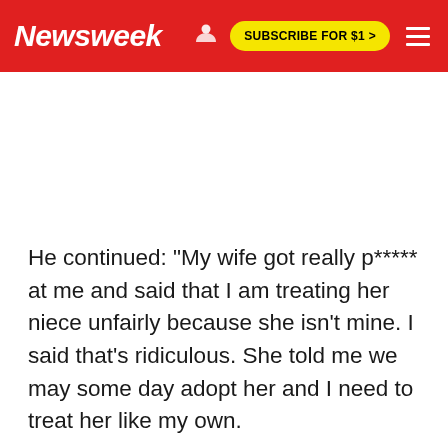Newsweek | SUBSCRIBE FOR $1 >
He continued: "My wife got really p***** at me and said that I am treating her niece unfairly because she isn't mine. I said that's ridiculous. She told me we may some day adopt her and I need to treat her like my own.
"I told her I do treat her like my own and a